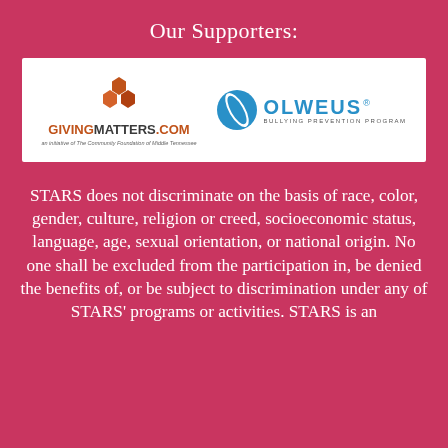Our Supporters:
[Figure (logo): Two sponsor logos side by side on a white background: GivingMatters.com (an initiative of The Community Foundation of Middle Tennessee) and Olweus Bullying Prevention Program]
STARS does not discriminate on the basis of race, color, gender, culture, religion or creed, socioeconomic status, language, age, sexual orientation, or national origin. No one shall be excluded from the participation in, be denied the benefits of, or be subject to discrimination under any of STARS' programs or activities. STARS is an Equal Opportunity Employer.